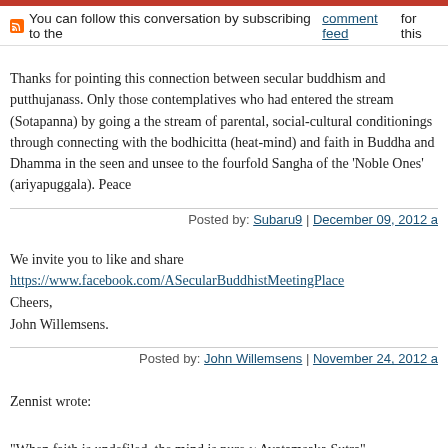You can follow this conversation by subscribing to the comment feed for this
Thanks for pointing this connection between secular buddhism and putthujanasOnly those contemplatives who had entered the stream (Sotapanna) by going athe stream of parental, social-cultural conditionings through connecting with thebodhicitta (heat-mind) and faith in Buddha and Dhamma in the seen and unseeto the fourfold Sangha of the 'Noble Ones' (ariyapuggala). Peace
Posted by: Subaru9 | December 09, 2012 a
We invite you to like and share
https://www.facebook.com/ASecularBuddhistMeetingPlace
Cheers,
John Willemsens.
Posted by: John Willemsens | November 24, 2012 a
Zennist wrote:

"When faith is undefiled, the mind is pure ~ Avatamsaka Sutra"

2nd that!